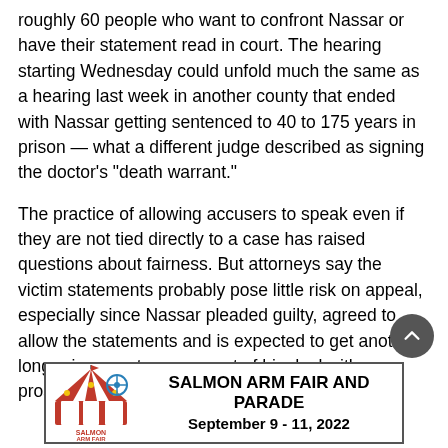roughly 60 people who want to confront Nassar or have their statement read in court. The hearing starting Wednesday could unfold much the same as a hearing last week in another county that ended with Nassar getting sentenced to 40 to 175 years in prison — what a different judge described as signing the doctor's "death warrant."
The practice of allowing accusers to speak even if they are not tied directly to a case has raised questions about fairness. But attorneys say the victim statements probably pose little risk on appeal, especially since Nassar pleaded guilty, agreed to allow the statements and is expected to get another long prison sentence as part of his deal with prosecutors.
[Figure (other): Advertisement for Salmon Arm Fair and Parade, September 9 - 11, 2022, with logo on the left and bold text on the right.]